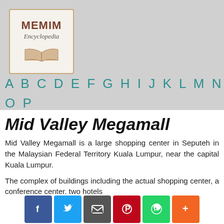[Figure (logo): MEMIM Encyclopedia logo with open book icon]
A B C D E F G H I J K L M N O P Q R S T U V W X Y Z #
Mid Valley Megamall
Mid Valley Megamall is a large shopping center in Seputeh in the Malaysian Federal Territory Kuala Lumpur, near the capital Kuala Lumpur.
The complex of buildings including the actual shopping center, a conference center, two hotels
[Figure (infographic): Social share buttons: Facebook, Twitter, Email, Pinterest, WhatsApp, More]